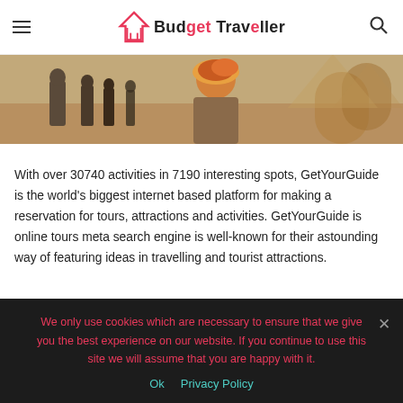Budget Traveller
[Figure (photo): Travel photo strip showing people at an outdoor location, sandy/earthy tones, a woman with colorful headscarf visible]
With over 30740 activities in 7190 interesting spots, GetYourGuide is the world’s biggest internet based platform for making a reservation for tours, attractions and activities. GetYourGuide is online tours meta search engine is well-known for their astounding way of featuring ideas in travelling and tourist attractions.
What really makes GetYourGuide...
We only use cookies which are necessary to ensure that we give you the best experience on our website. If you continue to use this site we will assume that you are happy with it.
Ok   Privacy Policy